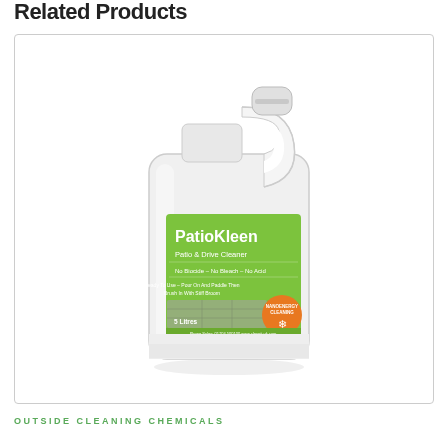Related Products
[Figure (photo): A white 5-litre plastic jerry can / container of PatioKleen Patio & Drive Cleaner with a green label. Label reads: PatioKleen, Patio & Drive Cleaner, No Biocide - No Bleach - No Acid, Ready To Use - Pour On And Paddle Then Brush In With Stiff Broom, 5 Litres, with an orange NANOENERGY CLEANING badge and a snowflake icon.]
OUTSIDE CLEANING CHEMICALS